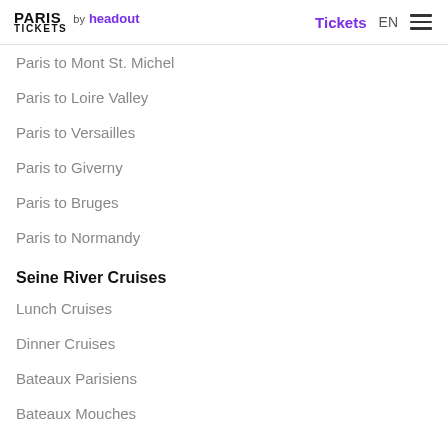PARIS TICKETS by headout | Tickets EN ☰
Paris to Mont St. Michel
Paris to Loire Valley
Paris to Versailles
Paris to Giverny
Paris to Bruges
Paris to Normandy
Seine River Cruises
Lunch Cruises
Dinner Cruises
Bateaux Parisiens
Bateaux Mouches